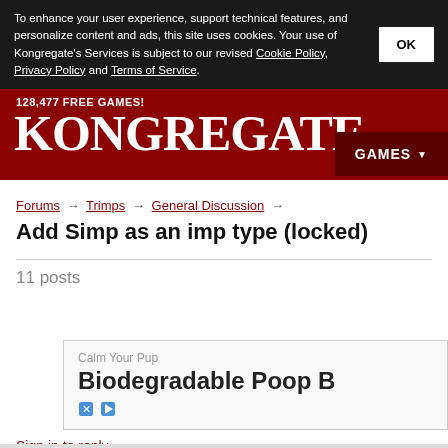To enhance your user experience, support technical features, and personalize content and ads, this site uses cookies. Your use of Kongregate's Services is subject to our revised Cookie Policy, Privacy Policy and Terms of Service.
128,477 FREE GAMES! KONGREGATE
Forums → Trimps → General Discussion →
Add Simp as an imp type (locked)
11 posts
[Figure (screenshot): Advertisement banner: Calm Your Pup — Biodegradable Poop B...]
Sign in to reply